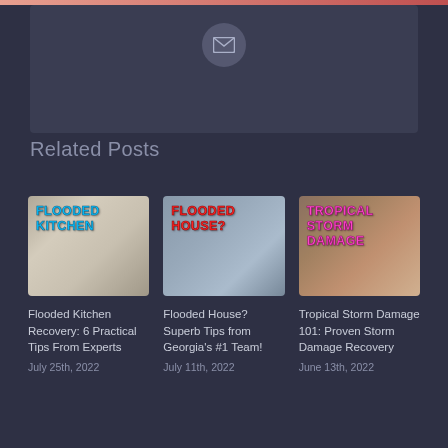[Figure (other): Email subscription box with circular email icon at top center]
Related Posts
[Figure (photo): Flooded kitchen thumbnail image with bold blue text 'FLOODED KITCHEN']
Flooded Kitchen Recovery: 6 Practical Tips From Experts
July 25th, 2022
[Figure (photo): Flooded house thumbnail image with bold red text 'FLOODED HOUSE?']
Flooded House? Superb Tips from Georgia's #1 Team!
July 11th, 2022
[Figure (photo): Tropical storm damage thumbnail with fallen tree, pink text 'TROPICAL STORM DAMAGE']
Tropical Storm Damage 101: Proven Storm Damage Recovery
June 13th, 2022